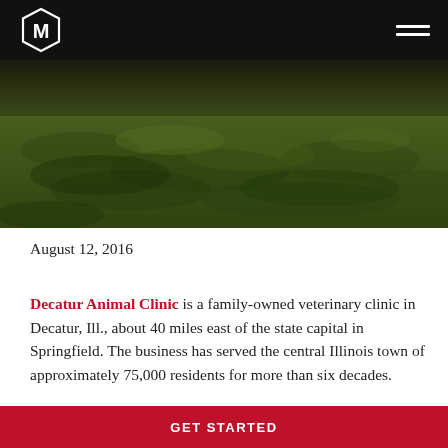M logo and navigation header
[Figure (photo): Outdoor grass lawn photo used as hero banner image]
August 12, 2016
Decatur Animal Clinic is a family-owned veterinary clinic in Decatur, Ill., about 40 miles east of the state capital in Springfield. The business has served the central Illinois town of approximately 75,000 residents for more than six decades.
GET STARTED